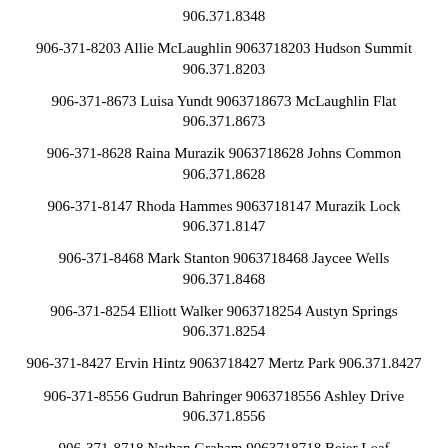906.371.8348
906-371-8203 Allie McLaughlin 9063718203 Hudson Summit 906.371.8203
906-371-8673 Luisa Yundt 9063718673 McLaughlin Flat 906.371.8673
906-371-8628 Raina Murazik 9063718628 Johns Common 906.371.8628
906-371-8147 Rhoda Hammes 9063718147 Murazik Lock 906.371.8147
906-371-8468 Mark Stanton 9063718468 Jaycee Wells 906.371.8468
906-371-8254 Elliott Walker 9063718254 Austyn Springs 906.371.8254
906-371-8427 Ervin Hintz 9063718427 Mertz Park 906.371.8427
906-371-8556 Gudrun Bahringer 9063718556 Ashley Drive 906.371.8556
906-371-8718 Nathan Graham 9063718718 Beier Loaf 906.371.8718